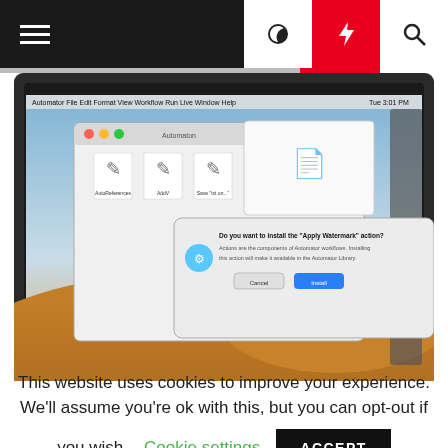Navigation bar with hamburger menu, moon icon, lightning icon, and search icon
[Figure (screenshot): MacBook laptop showing macOS Mojave desktop with a Finder window, file icons, and an Automator action install dialog. The background shows a desert sand dune scene.]
If adding watermark to PDFs is something you have to carry out more often than not, you will appreciate
This website uses cookies to improve your experience. We'll assume you're ok with this, but you can opt-out if you wish. Cookie settings ACCEPT